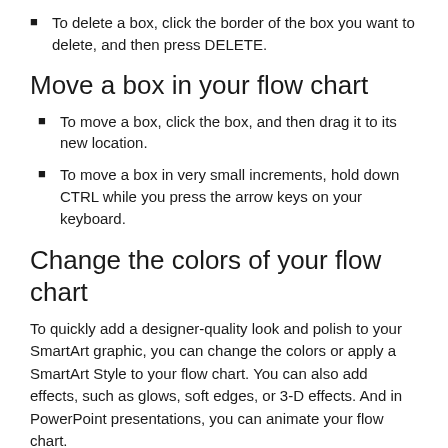To delete a box, click the border of the box you want to delete, and then press DELETE.
Move a box in your flow chart
To move a box, click the box, and then drag it to its new location.
To move a box in very small increments, hold down CTRL while you press the arrow keys on your keyboard.
Change the colors of your flow chart
To quickly add a designer-quality look and polish to your SmartArt graphic, you can change the colors or apply a SmartArt Style to your flow chart. You can also add effects, such as glows, soft edges, or 3-D effects. And in PowerPoint presentations, you can animate your flow chart.
Apply theme colors